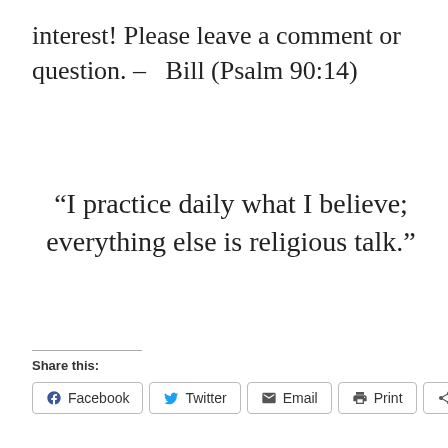interest! Please leave a comment or question. – Bill (Psalm 90:14)
“I practice daily what I believe; everything else is religious talk.”
Share this:
Facebook  Twitter  Email  Print  More